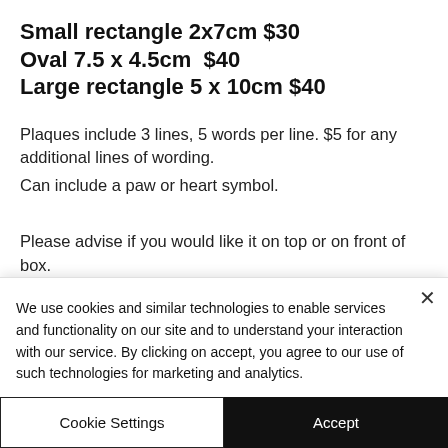Small rectangle 2x7cm $30
Oval 7.5 x 4.5cm $40
Large rectangle 5 x 10cm $40
Plaques include 3 lines, 5 words per line. $5 for any additional lines of wording.
Can include a paw or heart symbol.
Please advise if you would like it on top or on front of box.
[Figure (photo): Two memorial boxes partially visible at the bottom: a wooden light-colored box on the left and a grey/taupe box on the right]
We use cookies and similar technologies to enable services and functionality on our site and to understand your interaction with our service. By clicking on accept, you agree to our use of such technologies for marketing and analytics.